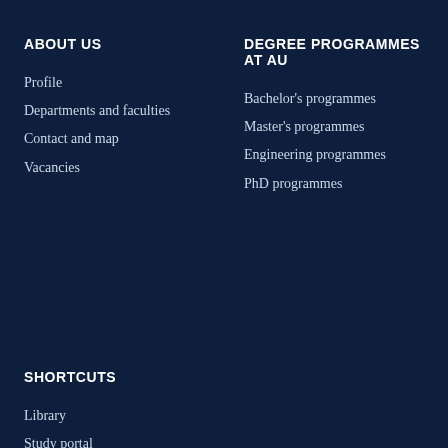ABOUT US
Profile
Departments and faculties
Contact and map
Vacancies
DEGREE PROGRAMMES AT AU
Bachelor's programmes
Master's programmes
Engineering programmes
PhD programmes
SHORTCUTS
Library
Study portal
PhD portal
Employee portal
Alumni portal